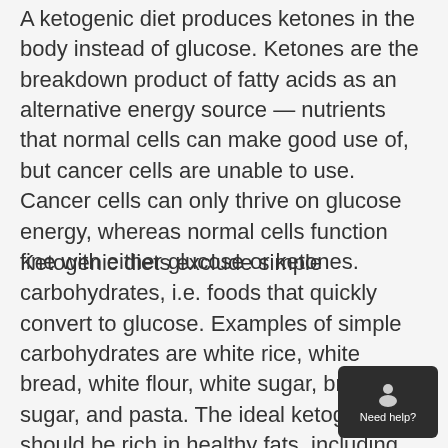A ketogenic diet produces ketones in the body instead of glucose. Ketones are the breakdown product of fatty acids as an alternative energy source — nutrients that normal cells can make good use of, but cancer cells are unable to use. Cancer cells can only thrive on glucose energy, whereas normal cells function fine with either glucose or ketones.
Ketogenic diets exclude simple carbohydrates, i.e. foods that quickly convert to glucose. Examples of simple carbohydrates are white rice, white bread, white flour, white sugar, brown sugar, and pasta. The ideal ketogenic diet should be rich in healthy fats, including unrefined virgin coconut oil, virgin olive oil, avocados, and various raw nuts, while excluding commonly used processed, refined and hydrogenated oils. It should also contain mod amounts of protein from wild fish, eggs, and plant
[Figure (other): Customer support chat widget with person icon and 'Need help?' text label on dark background]